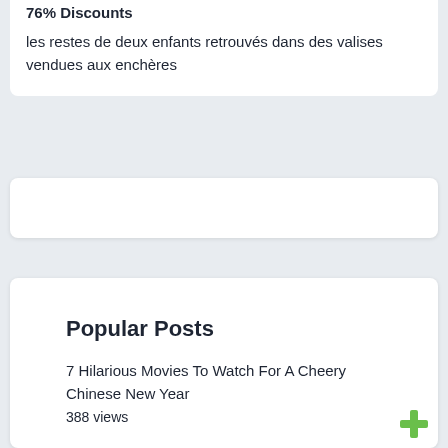76% Discounts
les restes de deux enfants retrouvés dans des valises vendues aux enchères
[Figure (other): Empty white card placeholder]
Popular Posts
7 Hilarious Movies To Watch For A Cheery Chinese New Year
388 views